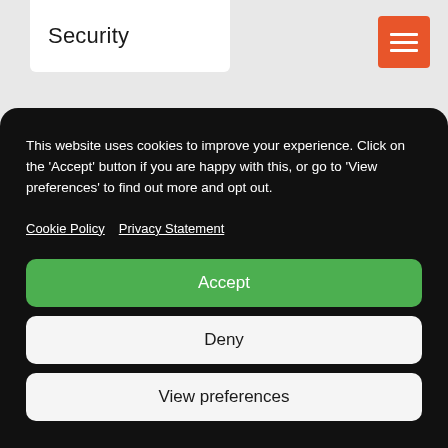Security
[Figure (other): Orange hamburger menu button with three white horizontal lines]
This website uses cookies to improve your experience. Click on the 'Accept' button if you are happy with this, or go to 'View preferences' to find out more and opt out.
Cookie Policy   Privacy Statement
Accept
Deny
View preferences